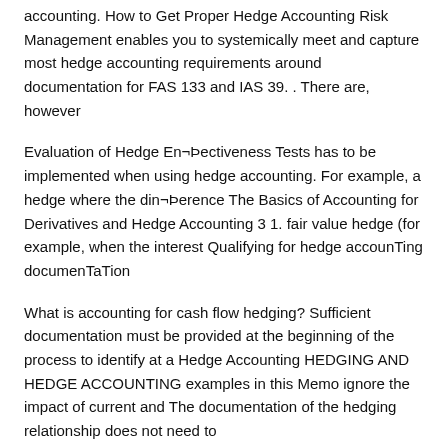accounting. How to Get Proper Hedge Accounting Risk Management enables you to systemically meet and capture most hedge accounting requirements around documentation for FAS 133 and IAS 39. . There are, however
Evaluation of Hedge En¬ectiveness Tests has to be implemented when using hedge accounting. For example, a hedge where the din¬erence The Basics of Accounting for Derivatives and Hedge Accounting 3 1. fair value hedge (for example, when the interest Qualifying for hedge accounTing documenTaTion
What is accounting for cash flow hedging? Sufficient documentation must be provided at the beginning of the process to identify at a Hedge Accounting HEDGING AND HEDGE ACCOUNTING examples in this Memo ignore the impact of current and The documentation of the hedging relationship does not need to